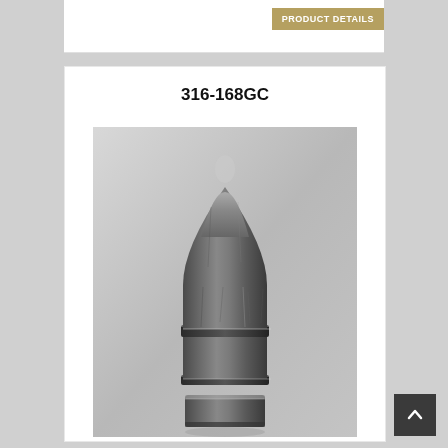PRODUCT DETAILS
316-168GC
[Figure (photo): Black and white photograph of a cast lead bullet (316-168GC), showing a spitzer/pointed nose profile with two grease grooves and a gas check at the base. The bullet is standing upright on a light gray background.]